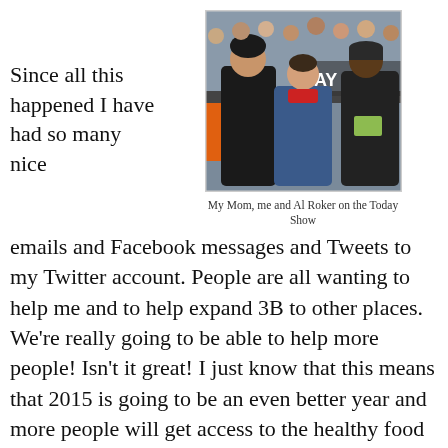Since all this happened I have had so many nice emails and Facebook messages and Tweets to my Twitter account. People are all wanting to help me and to help expand 3B to other places. We’re really going to be able to help more people! Isn’t it great! I just know that this means that 2015 is going to be an even better year and more people will get access to the healthy food they need and deserve!
[Figure (photo): A woman, a boy in a blue puffer jacket, and Al Roker standing outdoors at the Today Show set with a crowd behind them.]
My Mom, me and Al Roker on the Today Show